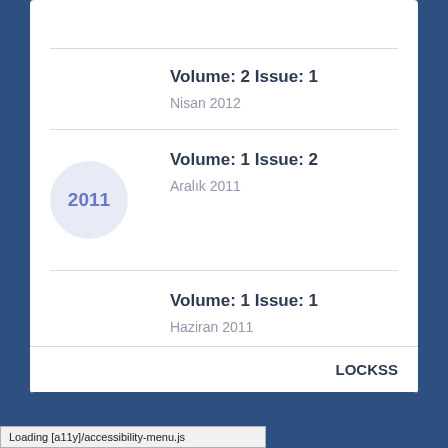Volume: 2 Issue: 1
Nisan 2012
2011
Volume: 1 Issue: 2
Aralık 2011
Volume: 1 Issue: 1
Haziran 2011
LOCKSS
Loading [a11y]/accessibility-menu.js